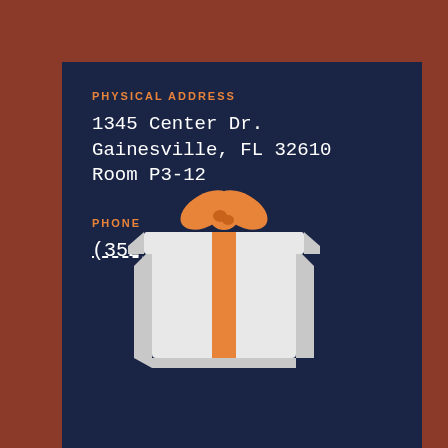PHYSICAL ADDRESS
1345 Center Dr. Gainesville, FL 32610
Room P3-12
PHONE
(352) 273-7714
[Figure (illustration): A white gift box with orange ribbon and bow, partially overlapping two dark navy blue card sections on a reddish-brown background.]